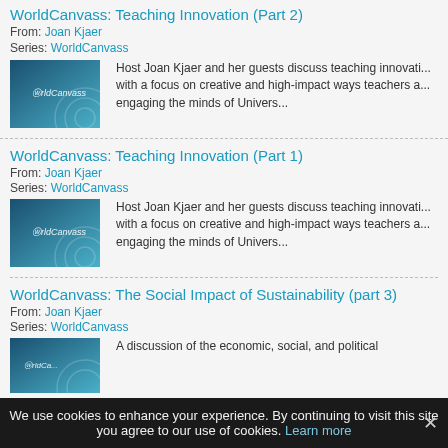WorldCanvass: Teaching Innovation (Part 2)
From: Joan Kjaer
Series: WorldCanvass
Host Joan Kjaer and her guests discuss teaching innovati... with a focus on creative and high-impact ways teachers a... engaging the minds of Univers...
WorldCanvass: Teaching Innovation (Part 1)
From: Joan Kjaer
Series: WorldCanvass
Host Joan Kjaer and her guests discuss teaching innovati... with a focus on creative and high-impact ways teachers a... engaging the minds of Univers...
WorldCanvass: The Social Impact of Sustainability (part 3)
From: Joan Kjaer
Series: WorldCanvass
A discussion of the economic, social, and political...
We use cookies to enhance your experience. By continuing to visit this site you agree to our use of cookies. Learn more